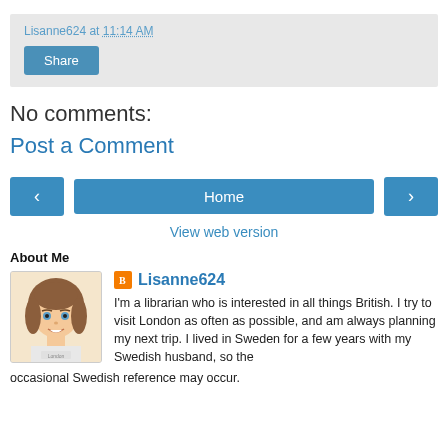Lisanne624 at 11:14 AM
Share
No comments:
Post a Comment
< Home >
View web version
About Me
[Figure (illustration): Cartoon avatar of a woman with brown hair, blue eyes, wearing a white shirt with 'London' text]
Lisanne624
I'm a librarian who is interested in all things British. I try to visit London as often as possible, and am always planning my next trip. I lived in Sweden for a few years with my Swedish husband, so the occasional Swedish reference may occur.